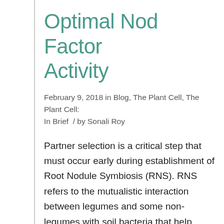Optimal Nod Factor Activity
February 9, 2018 in Blog, The Plant Cell, The Plant Cell: In Brief  /  by Sonali Roy
Partner selection is a critical step that must occur early during establishment of Root Nodule Symbiosis (RNS). RNS refers to the mutualistic interaction between legumes and some non-legumes with soil bacteria that help convert atmospheric nitrogen into plant usable ammonia. In legumes such as Medicago truncatula, a successful interaction initiates two genetically separable but interdependent [...]